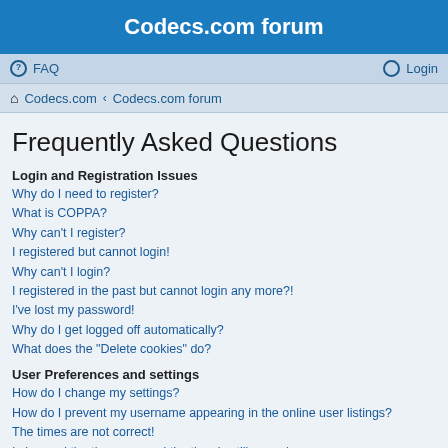Codecs.com forum
FAQ   Login
Codecs.com · Codecs.com forum
Frequently Asked Questions
Login and Registration Issues
Why do I need to register?
What is COPPA?
Why can't I register?
I registered but cannot login!
Why can't I login?
I registered in the past but cannot login any more?!
I've lost my password!
Why do I get logged off automatically?
What does the "Delete cookies" do?
User Preferences and settings
How do I change my settings?
How do I prevent my username appearing in the online user listings?
The times are not correct!
I changed the timezone and the time is still wrong!
My language is not in the list!
What are the images next to my username?